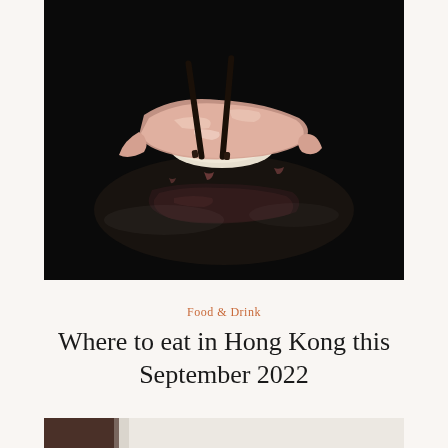[Figure (photo): Close-up photo of a sushi nigiri piece (likely tuna/otoro) held by black chopsticks, with its glossy reflection visible on a dark black surface below.]
Food & Drink
Where to eat in Hong Kong this September 2022
[Figure (photo): Partial view of a second food photo at the bottom edge of the page, showing a dark bowl or cup on a light surface.]